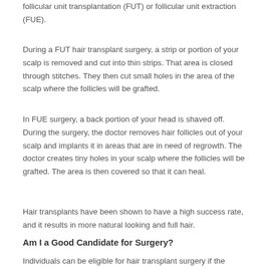follicular unit transplantation (FUT) or follicular unit extraction (FUE).
During a FUT hair transplant surgery, a strip or portion of your scalp is removed and cut into thin strips. That area is closed through stitches. They then cut small holes in the area of the scalp where the follicles will be grafted.
In FUE surgery, a back portion of your head is shaved off. During the surgery, the doctor removes hair follicles out of your scalp and implants it in areas that are in need of regrowth. The doctor creates tiny holes in your scalp where the follicles will be grafted. The area is then covered so that it can heal.
Hair transplants have been shown to have a high success rate, and it results in more natural looking and full hair.
Am I a Good Candidate for Surgery?
Individuals can be eligible for hair transplant surgery if the...